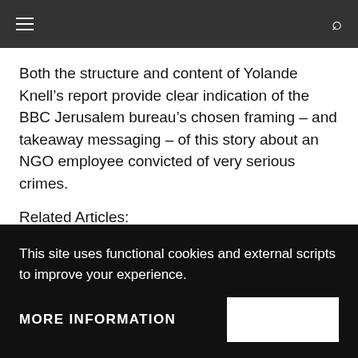Both the structure and content of Yolande Knell’s report provide clear indication of the BBC Jerusalem bureau’s chosen framing – and takeaway messaging – of this story about an NGO employee convicted of very serious crimes.
Related Articles:
FIVE THINGS YOU NEED TO KNOW ABOUT
This site uses functional cookies and external scripts to improve your experience.
MORE INFORMATION